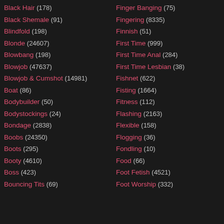Black Hair (178)
Black Shemale (91)
Blindfold (198)
Blonde (24607)
Blowbang (198)
Blowjob (47637)
Blowjob & Cumshot (14981)
Boat (86)
Bodybuilder (50)
Bodystockings (24)
Bondage (2838)
Boobs (24350)
Boots (295)
Booty (4610)
Boss (423)
Bouncing Tits (69)
Finger Banging (75)
Fingering (8335)
Finnish (51)
First Time (999)
First Time Anal (284)
First Time Lesbian (38)
Fishnet (622)
Fisting (1664)
Fitness (112)
Flashing (2163)
Flexible (158)
Flogging (36)
Fondling (10)
Food (66)
Foot Fetish (4521)
Foot Worship (332)